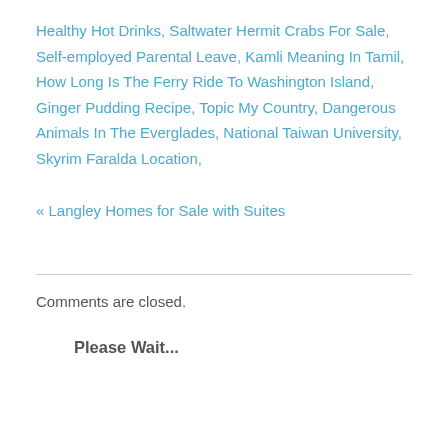Healthy Hot Drinks, Saltwater Hermit Crabs For Sale, Self-employed Parental Leave, Kamli Meaning In Tamil, How Long Is The Ferry Ride To Washington Island, Ginger Pudding Recipe, Topic My Country, Dangerous Animals In The Everglades, National Taiwan University, Skyrim Faralda Location,
« Langley Homes for Sale with Suites
Comments are closed.
Please Wait...